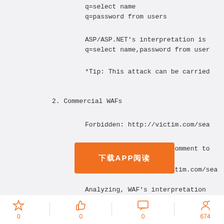q=select name
q=password from users
ASP/ASP.NET's interpretation is
q=select name,password from user
*Tip: This attack can be carried
2. Commercial WAFs
Forbidden: http://victim.com/sea
Now we use HPP+Inline comment to
[Figure (other): Orange banner with Chinese text for APP download]
victim.com/sea
Analyzing, WAF's interpretation
0  0  0  674